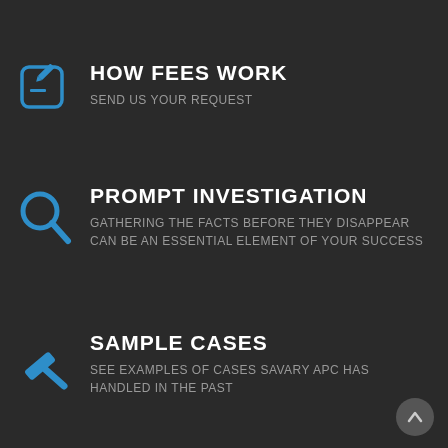[Figure (infographic): Edit/pencil icon in blue outline style]
HOW FEES WORK
SEND US YOUR REQUEST
[Figure (infographic): Magnifying glass / search icon in blue]
PROMPT INVESTIGATION
GATHERING THE FACTS BEFORE THEY DISAPPEAR CAN BE AN ESSENTIAL ELEMENT OF YOUR SUCCESS
[Figure (infographic): Gavel/hammer icon in blue]
SAMPLE CASES
SEE EXAMPLES OF CASES SAVARY APC HAS HANDLED IN THE PAST